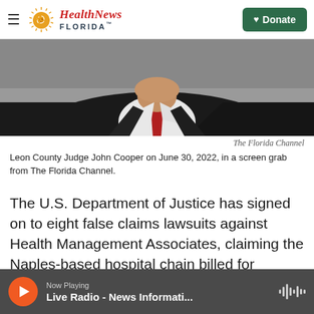Health News Florida — Donate
[Figure (photo): Screen grab of Leon County Judge John Cooper from The Florida Channel, showing a man in a black suit with white shirt and red tie]
The Florida Channel
Leon County Judge John Cooper on June 30, 2022, in a screen grab from The Florida Channel.
The U.S. Department of Justice has signed on to eight false claims lawsuits against Health Management Associates, claiming the Naples-based hospital chain billed for unnecessary patient admissions and paid kickbacks to doctors who referred patients.
Now Playing — Live Radio - News Informati...